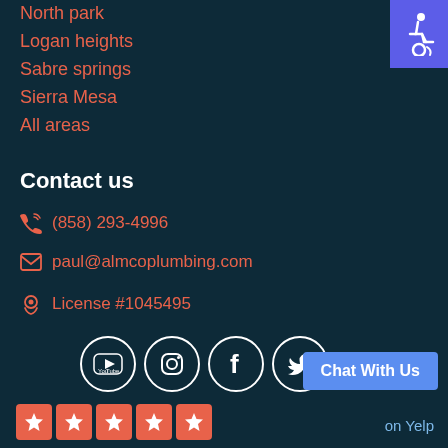North park
Logan heights
Sabre springs
Sierra Mesa
All areas
[Figure (logo): Accessibility wheelchair icon badge, purple/blue background, top-right corner]
Contact us
(858) 293-4996
paul@almcoplumbing.com
License #1045495
[Figure (other): Social media icons row: YouTube, Instagram, Facebook, Twitter — white circles on dark background]
[Figure (other): Chat With Us button, blue background]
[Figure (other): Five red star rating icons]
on Yelp